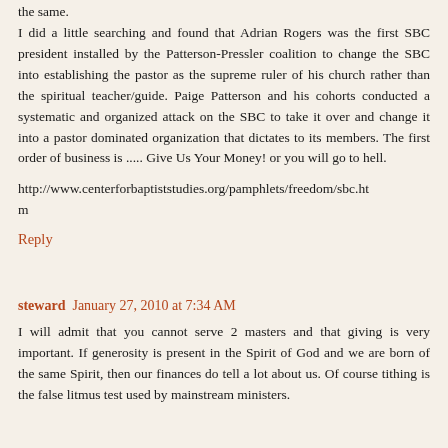the same. I did a little searching and found that Adrian Rogers was the first SBC president installed by the Patterson-Pressler coalition to change the SBC into establishing the pastor as the supreme ruler of his church rather than the spiritual teacher/guide. Paige Patterson and his cohorts conducted a systematic and organized attack on the SBC to take it over and change it into a pastor dominated organization that dictates to its members. The first order of business is ..... Give Us Your Money! or you will go to hell.
http://www.centerforbaptiststudies.org/pamphlets/freedom/sbc.htm
Reply
steward January 27, 2010 at 7:34 AM
I will admit that you cannot serve 2 masters and that giving is very important. If generosity is present in the Spirit of God and we are born of the same Spirit, then our finances do tell a lot about us. Of course tithing is the false litmus test used by mainstream ministers.